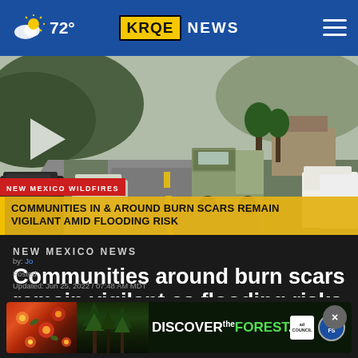72° KRQE NEWS
[Figure (screenshot): Video thumbnail showing a road scene with military truck and cars, with lower-third overlay reading 'NEW MEXICO WILDFIRES — COMMUNITIES IN & AROUND BURN SCARS REMAIN VIGILANT AMID FLOODING RISK']
NEW MEXICO NEWS
Communities around burn scars remain vigilant as flooding risks continue
by: [author link] Posted: Updated: Jun 25, 2022 / 07:48 AM MDT
[Figure (infographic): DISCOVERtheFOREST.org ad banner with Ad Council and USDA Forest Service logos]